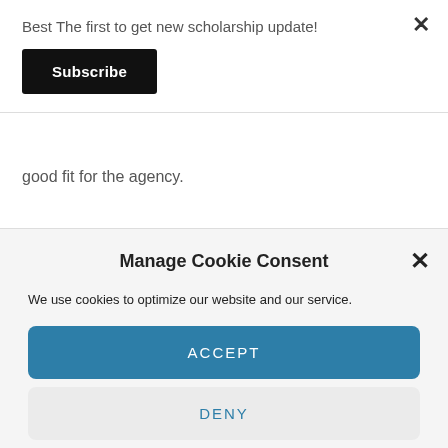Best The first to get new scholarship update!
Subscribe
good fit for the agency.
Manage Cookie Consent
We use cookies to optimize our website and our service.
ACCEPT
DENY
PREFERENCES
Privacy Policy